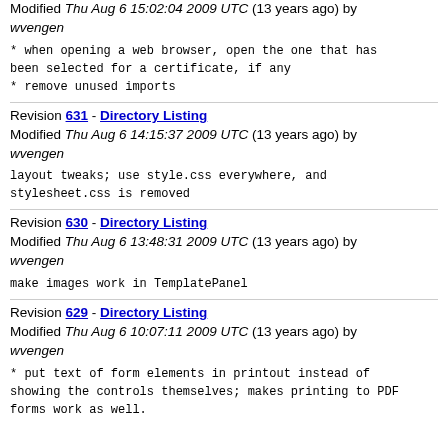Modified Thu Aug 6 15:02:04 2009 UTC (13 years ago) by wvengen
* when opening a web browser, open the one that has been selected for a certificate, if any
* remove unused imports
Revision 631 - Directory Listing
Modified Thu Aug 6 14:15:37 2009 UTC (13 years ago) by wvengen
layout tweaks; use style.css everywhere, and stylesheet.css is removed
Revision 630 - Directory Listing
Modified Thu Aug 6 13:48:31 2009 UTC (13 years ago) by wvengen
make images work in TemplatePanel
Revision 629 - Directory Listing
Modified Thu Aug 6 10:07:11 2009 UTC (13 years ago) by wvengen
* put text of form elements in printout instead of showing the controls themselves; makes printing to PDF forms work as well.